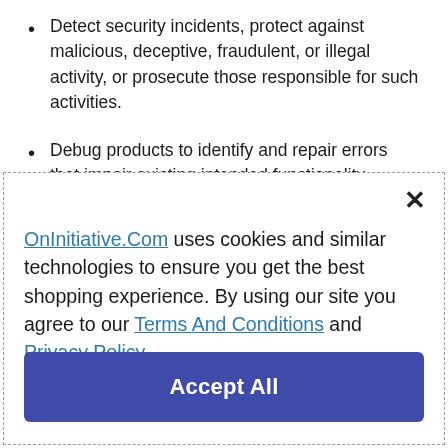Detect security incidents, protect against malicious, deceptive, fraudulent, or illegal activity, or prosecute those responsible for such activities.
Debug products to identify and repair errors that impair existing intended functionality.
OnInitiative.Com uses cookies and similar technologies to ensure you get the best shopping experience. By using our site you agree to our Terms And Conditions and Privacy Policy.
Accept All